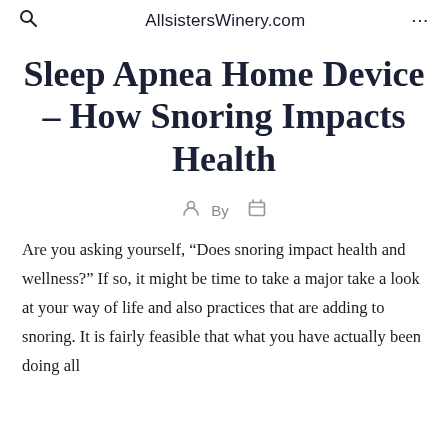AllsistersWinery.com
Sleep Apnea Home Device – How Snoring Impacts Health
By
Are you asking yourself, “Does snoring impact health and wellness?” If so, it might be time to take a major take a look at your way of life and also practices that are adding to snoring. It is fairly feasible that what you have actually been doing all